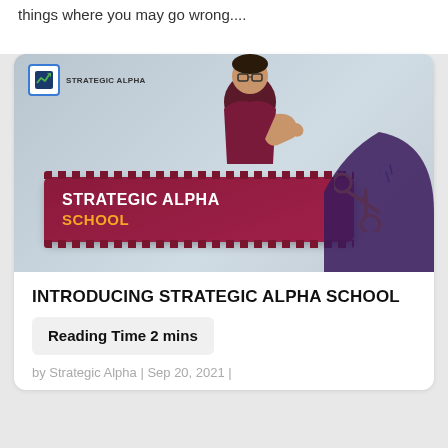things where you may go wrong....
[Figure (illustration): Strategic Alpha School promotional thumbnail showing a young man in a maroon t-shirt giving a thumbs up behind a film strip banner reading 'STRATEGIC ALPHA SCHOOL' with scissors graphic and Strategic Alpha logo in top left.]
INTRODUCING STRATEGIC ALPHA SCHOOL
Reading Time 2 mins
by Strategic Alpha | Sep 20, 2021 |